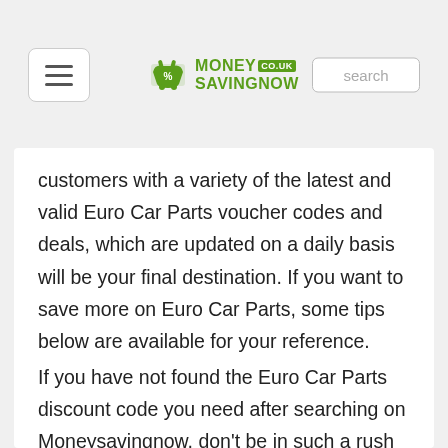MoneySavingNow
customers with a variety of the latest and valid Euro Car Parts voucher codes and deals, which are updated on a daily basis will be your final destination. If you want to save more on Euro Car Parts, some tips below are available for your reference.
If you have not found the Euro Car Parts discount code you need after searching on Moneysavingnow, don't be in such a rush to place your order on Euro Car Parts. Waiting a couple of days and coming back to Moneysavingnow is a good choice for you. Thus, you may get some surprise.